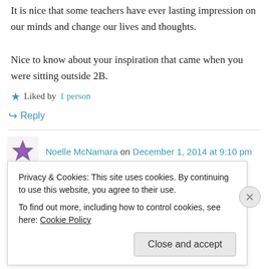It is nice that some teachers have ever lasting impression on our minds and change our lives and thoughts.
Nice to know about your inspiration that came when you were sitting outside 2B.
Liked by 1 person
Reply
Noelle McNamara on December 1, 2014 at 9:10 pm
Privacy & Cookies: This site uses cookies. By continuing to use this website, you agree to their use.
To find out more, including how to control cookies, see here: Cookie Policy
Close and accept